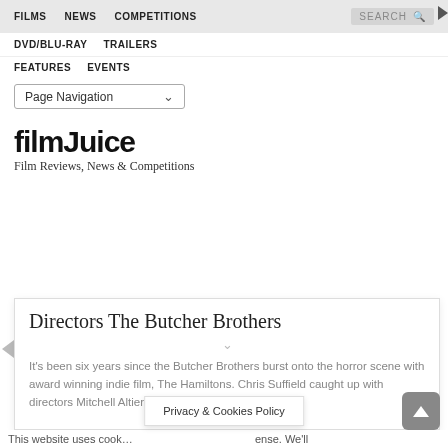FILMS  NEWS  COMPETITIONS  SEARCH
DVD/BLU-RAY  TRAILERS
FEATURES  EVENTS
Page Navigation
[Figure (logo): FilmJuice logo — stylized bold text]
Film Reviews, News & Competitions
Directors The Butcher Brothers
It's been six years since the Butcher Brothers burst onto the horror scene with award winning indie film, The Hamiltons. Chris Suffield caught up with directors Mitchell Altieri and Phil Flores to chat
Privacy & Cookies Policy
This website uses cook... ...ense. We'll